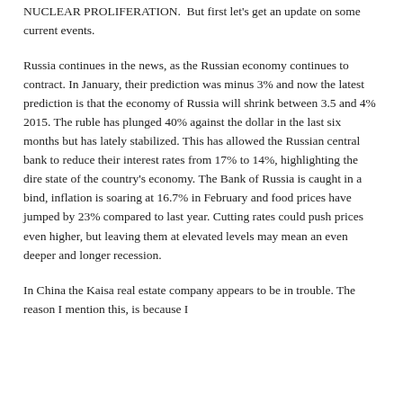NUCLEAR PROLIFERATION.  But first let's get an update on some current events.
Russia continues in the news, as the Russian economy continues to contract. In January, their prediction was minus 3% and now the latest prediction is that the economy of Russia will shrink between 3.5 and 4% 2015. The ruble has plunged 40% against the dollar in the last six months but has lately stabilized. This has allowed the Russian central bank to reduce their interest rates from 17% to 14%, highlighting the dire state of the country's economy. The Bank of Russia is caught in a bind, inflation is soaring at 16.7% in February and food prices have jumped by 23% compared to last year. Cutting rates could push prices even higher, but leaving them at elevated levels may mean an even deeper and longer recession.
In China the Kaisa real estate company appears to be in trouble. The reason I mention this, is because I